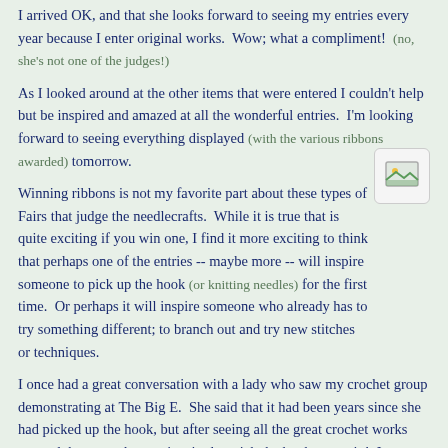I arrived OK, and that she looks forward to seeing my entries every year because I enter original works.  Wow; what a compliment!  (no, she's not one of the judges!)
As I looked around at the other items that were entered I couldn't help but be inspired and amazed at all the wonderful entries.  I'm looking forward to seeing everything displayed (with the various ribbons awarded) tomorrow.
[Figure (illustration): Small image placeholder icon showing a landscape picture icon]
Winning ribbons is not my favorite part about these types of Fairs that judge the needlecrafts.  While it is true that is quite exciting if you win one, I find it more exciting to think that perhaps one of the entries -- maybe more -- will inspire someone to pick up the hook (or knitting needles) for the first time.  Or perhaps it will inspire someone who already has to try something different; to branch out and try new stitches or techniques.
I once had a great conversation with a lady who saw my crochet group demonstrating at The Big E.  She said that it had been years since she had picked up the hook, but after seeing all the great crochet works entered that year she was inspired to pick the hook up again!  I was delighted to hear this!  :D
I am curious, readers, if you ever saw something at a Fair and was inspired.  Drop me a line and share your story!
When you're inspired about things, do I. Would it surprise you?